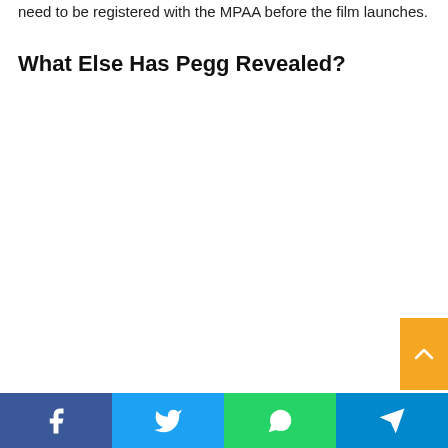need to be registered with the MPAA before the film launches.
What Else Has Pegg Revealed?
[Figure (other): Orange scroll-to-top button in bottom right corner]
Social sharing bar: Facebook, Twitter, WhatsApp, Telegram